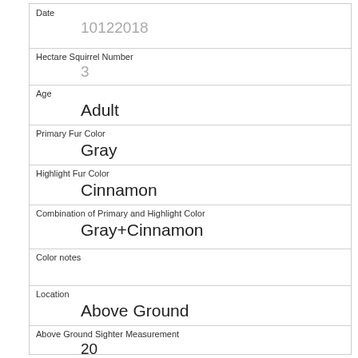| Date | 10122018 |
| Hectare Squirrel Number | 3 |
| Age | Adult |
| Primary Fur Color | Gray |
| Highlight Fur Color | Cinnamon |
| Combination of Primary and Highlight Color | Gray+Cinnamon |
| Color notes |  |
| Location | Above Ground |
| Above Ground Sighter Measurement | 20 |
| Specific Location |  |